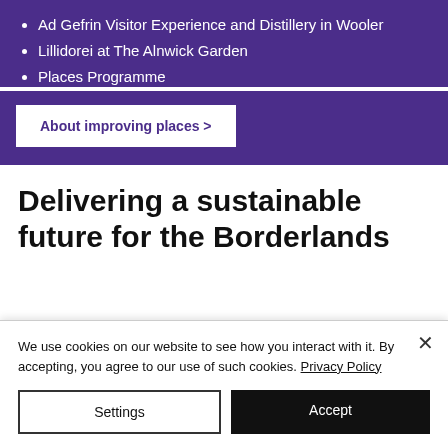Ad Gefrin Visitor Experience and Distillery in Wooler
Lillidorei at The Alnwick Garden
Places Programme
About improving places >
Delivering a sustainable future for the Borderlands
We use cookies on our website to see how you interact with it. By accepting, you agree to our use of such cookies. Privacy Policy
Settings
Accept